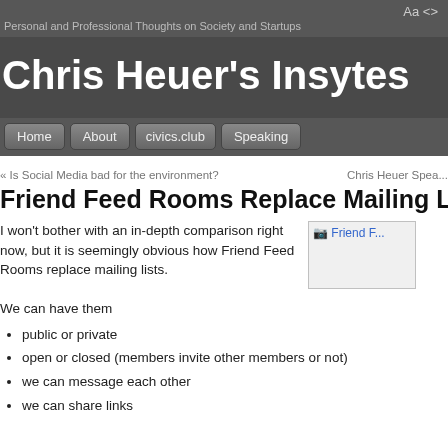Aa <>
Personal and Professional Thoughts on Society and Startups
Chris Heuer's Insytes
Home   About   civics.club   Speaking
« Is Social Media bad for the environment?   Chris Heuer Spea...
Friend Feed Rooms Replace Mailing Lis...
I won't bother with an in-depth comparison right now, but it is seemingly obvious how Friend Feed Rooms replace mailing lists.
[Figure (photo): Friend F... image thumbnail]
We can have them
public or private
open or closed (members invite other members or not)
we can message each other
we can share links